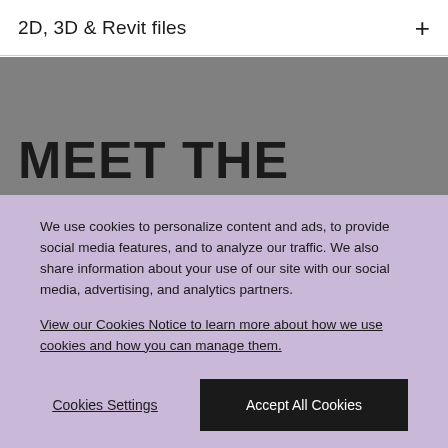2D, 3D & Revit files
MEET THE
We use cookies to personalize content and ads, to provide social media features, and to analyze our traffic. We also share information about your use of our site with our social media, advertising, and analytics partners.
View our Cookies Notice to learn more about how we use cookies and how you can manage them.
Cookies Settings
Accept All Cookies